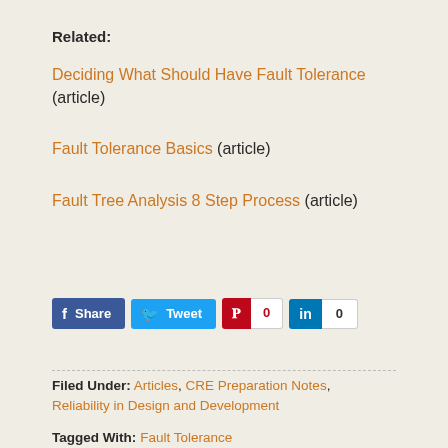Related:
Deciding What Should Have Fault Tolerance (article)
Fault Tolerance Basics (article)
Fault Tree Analysis 8 Step Process (article)
Share  Tweet  0  0
Filed Under: Articles, CRE Preparation Notes, Reliability in Design and Development
Tagged With: Fault Tolerance